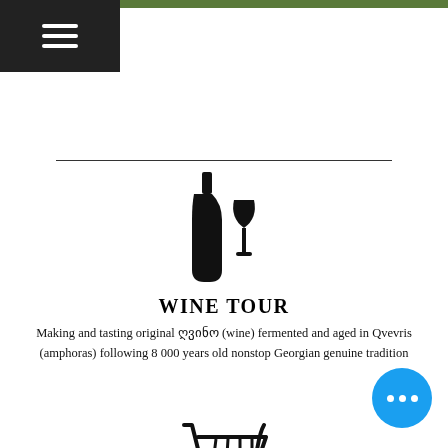Menu (hamburger icon)
[Figure (illustration): Wine bottle and wine glass silhouette icon]
WINE TOUR
Making and tasting original ღვინო (wine) fermented and aged in Qvevris (amphoras) following 8 000 years old nonstop Georgian genuine tradition
[Figure (illustration): Shopping cart outline icon]
SHOPPING IN THE HAMMOCK
We provide distant online access to most shopping 🛍 in Tbilisi and deliver to you while you enjoy our wine in hammock
[Figure (illustration): Chef hat / cloud icon (partially visible at bottom)]